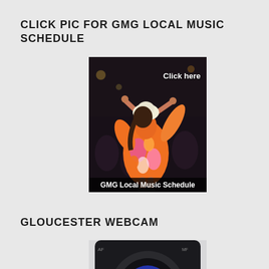CLICK PIC FOR GMG LOCAL MUSIC SCHEDULE
[Figure (photo): Photo of a woman dancing in a colorful orange and pink patterned dress and white hat, viewed from behind. Text overlay says 'Click here' in upper right and 'GMG Local Music Schedule' in a banner at the bottom.]
GLOUCESTER WEBCAM
[Figure (photo): Partial image of a camera lens, cropped at bottom of page.]